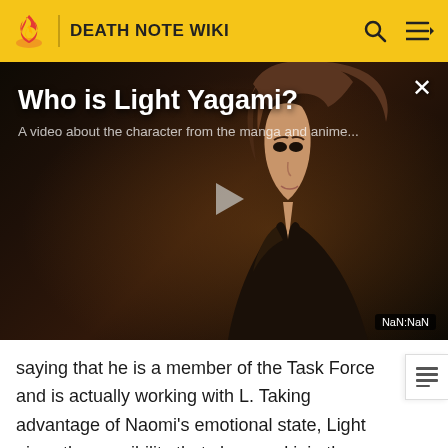DEATH NOTE WIKI
[Figure (screenshot): Video thumbnail showing Light Yagami anime character with title 'Who is Light Yagami?' and subtitle 'A video about the character from the manga and anime...' with a play button in the center. Timestamp shows NaN:NaN.]
saying that he is a member of the Task Force and is actually working with L. Taking advantage of Naomi's emotional state, Light gives the possibility that she could join the Task Force and help catch her fiancé's murderer. Light says that he will need to see a form of identification